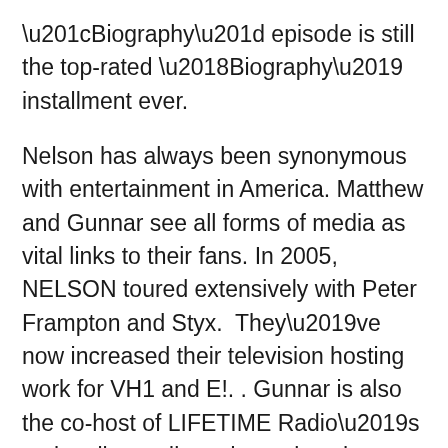“Biography” episode is still the top-rated ‘Biography’ installment ever.
Nelson has always been synonymous with entertainment in America. Matthew and Gunnar see all forms of media as vital links to their fans. In 2005, NELSON toured extensively with Peter Frampton and Styx.  They’ve now increased their television hosting work for VH1 and E!. . Gunnar is also the co-host of LIFETIME Radio’s nationally syndicated morning show.
Once again billed as NELSON, Matthew and Gunnar continue to perform sold out shows around the globe. Contributing to their